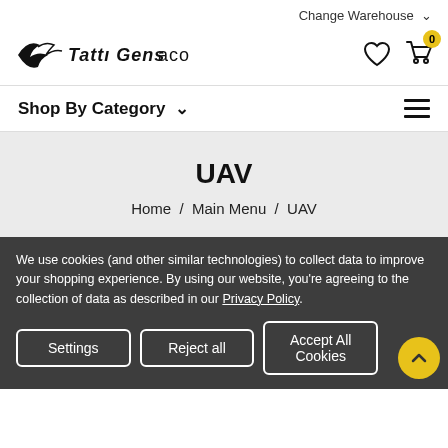Change Warehouse ∨
[Figure (logo): Tattu Gens ACO brand logo with stylized bird/aircraft mark]
Navigation: Shop By Category ∨ and hamburger menu icon
UAV
Home / Main Menu / UAV
We use cookies (and other similar technologies) to collect data to improve your shopping experience. By using our website, you're agreeing to the collection of data as described in our Privacy Policy.
Settings
Reject all
Accept All Cookies